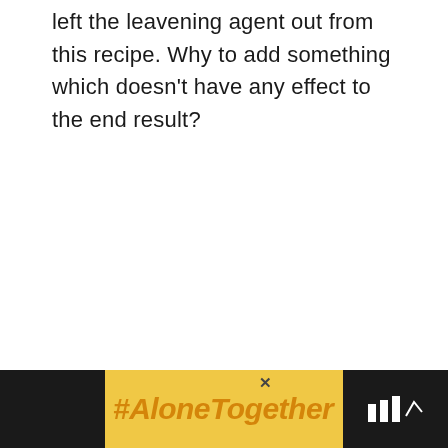left the leavening agent out from this recipe. Why to add something which doesn't have any effect to the end result?
[Figure (infographic): Green circular heart (like) button, count '31', and white circular share button arranged vertically on the right side]
[Figure (infographic): Advertisement banner at bottom: yellow background with '#AloneTogether' text in orange italic, woman cooking image in center, dark panels on sides]